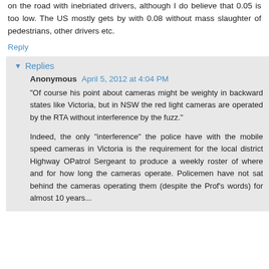on the road with inebriated drivers, although I do believe that 0.05 is too low. The US mostly gets by with 0.08 without mass slaughter of pedestrians, other drivers etc.
Reply
Replies
Anonymous  April 5, 2012 at 4:04 PM
"Of course his point about cameras might be weighty in backward states like Victoria, but in NSW the red light cameras are operated by the RTA without interference by the fuzz."
Indeed, the only "interference" the police have with the mobile speed cameras in Victoria is the requirement for the local district Highway OPatrol Sergeant to produce a weekly roster of where and for how long the cameras operate. Policemen have not sat behind the cameras operating them (despite the Prof's words) for almost 10 years...